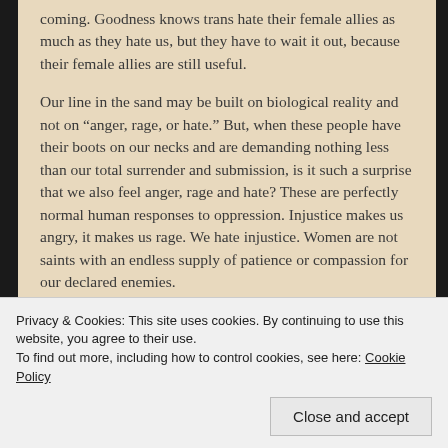coming. Goodness knows trans hate their female allies as much as they hate us, but they have to wait it out, because their female allies are still useful.
Our line in the sand may be built on biological reality and not on “anger, rage, or hate.” But, when these people have their boots on our necks and are demanding nothing less than our total surrender and submission, is it such a surprise that we also feel anger, rage and hate? These are perfectly normal human responses to oppression. Injustice makes us angry, it makes us rage. We hate injustice. Women are not saints with an endless supply of patience or compassion for our declared enemies.
Privacy & Cookies: This site uses cookies. By continuing to use this website, you agree to their use.
To find out more, including how to control cookies, see here: Cookie Policy